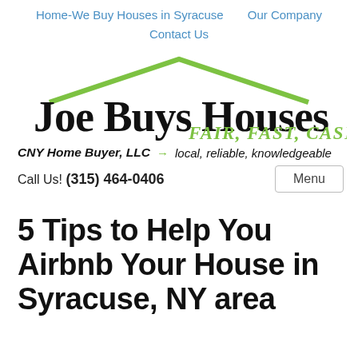Home-We Buy Houses in Syracuse   Our Company   Contact Us
[Figure (logo): Joe Buys Houses logo with green roof/house outline above text 'Joe Buys Houses' in handwritten style, with 'FAIR, FAST, CASH!' in green script below]
CNY Home Buyer, LLC → local, reliable, knowledgeable
Call Us! (315) 464-0406   Menu
5 Tips to Help You Airbnb Your House in Syracuse, NY area